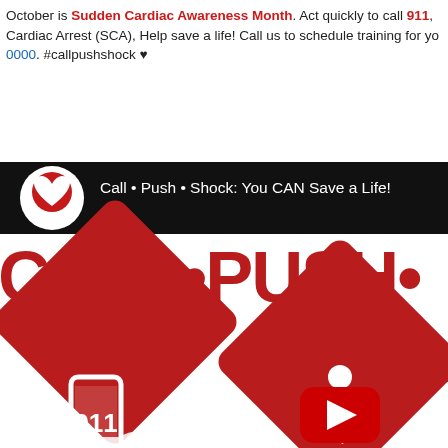October is Sudden Cardiac Awareness Month. Act quickly to call 911, Cardiac Arrest (SCA), Help save a life! Call us to schedule training for yo 0000. #callpushshock ♥
[Figure (screenshot): YouTube video thumbnail for 'Call • Push • Shock: You CAN Save a Life!' showing a dark top bar with channel logo (Parent Heart Watch) and title text, and below that red diamond-shaped icons on white background: left icon shows hand holding phone with 911, right icon shows CPR figure with YouTube play button overlay. Large red text 'CALL•PUSH•' visible.]